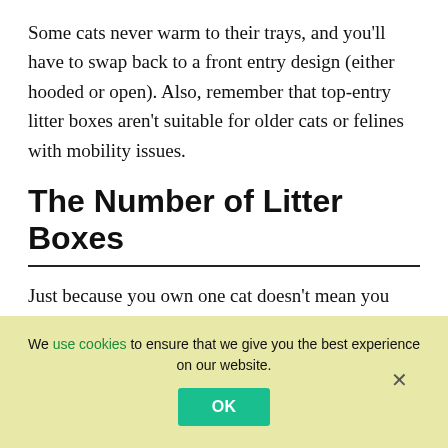Some cats never warm to their trays, and you'll have to swap back to a front entry design (either hooded or open). Also, remember that top-entry litter boxes aren't suitable for older cats or felines with mobility issues.
The Number of Litter Boxes
Just because you own one cat doesn't mean you need one litter box! Vets recommend a rule known as N+1, which means you should ideally have one more litter box than the number of cats.
We use cookies to ensure that we give you the best experience on our website.